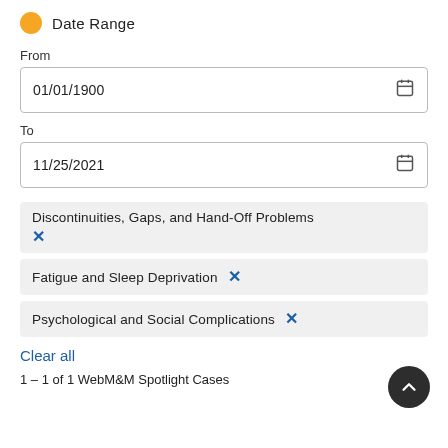Date Range
From
01/01/1900
To
11/25/2021
Discontinuities, Gaps, and Hand-Off Problems ×
Fatigue and Sleep Deprivation ×
Psychological and Social Complications ×
Clear all
1 – 1 of 1 WebM&M Spotlight Cases